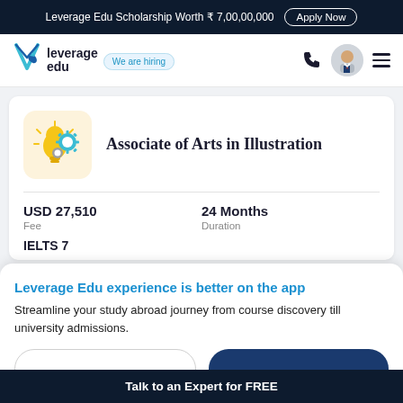Leverage Edu Scholarship Worth ₹ 7,00,00,000  Apply Now
[Figure (logo): Leverage Edu logo with V-shaped bookmark icon and rocket]
We are hiring
Associate of Arts in Illustration
USD 27,510
Fee
24 Months
Duration
IELTS 7
Leverage Edu experience is better on the app
Streamline your study abroad journey from course discovery till university admissions.
Talk to an Expert for FREE